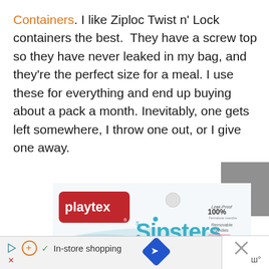Containers. I like Ziploc Twist n' Lock containers the best. They have a screw top so they have never leaked in my bag, and they're the perfect size for a meal. I use these for everything and end up buying about a pack a month. Inevitably, one gets left somewhere, I throw one out, or I give one away.
[Figure (photo): Playtex Sipsters product package — white box with red Playtex logo and teal Sipsters brand text. Right side shows gray scrollbar UI element. Text on right side reads: Leak-Proof 100%, Fermeture manche, Removable handles.]
[Figure (screenshot): Ad bar at bottom showing navigation icons, a plus icon, a checkmark, 'In-store shopping' text, a blue diamond navigation icon, and an X close button on the right.]